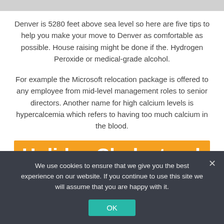Denver is 5280 feet above sea level so here are five tips to help you make your move to Denver as comfortable as possible. House raising might be done if the. Hydrogen Peroxide or medical-grade alcohol.
For example the Microsoft relocation package is offered to any employee from mid-level management roles to senior directors. Another name for high calcium levels is hypercalcemia which refers to having too much calcium in the blood.
Holiday Cholesterol
We use cookies to ensure that we give you the best experience on our website. If you continue to use this site we will assume that you are happy with it.